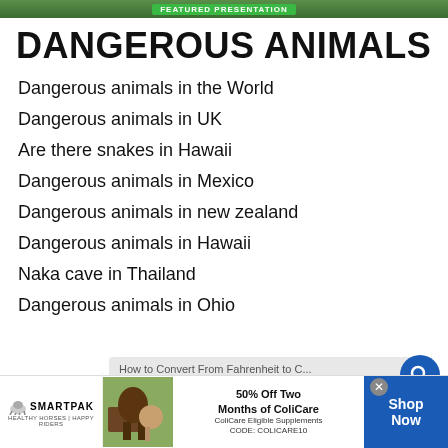[Website header image/banner]
DANGEROUS ANIMALS
Dangerous animals in the World
Dangerous animals in UK
Are there snakes in Hawaii
Dangerous animals in Mexico
Dangerous animals in new zealand
Dangerous animals in Hawaii
Naka cave in Thailand
Dangerous animals in Ohio
[Figure (screenshot): Overlay popup: 'How to Convert From Fahrenheit to C... No compatible source was found for this media.' with search icon button]
[Figure (photo): SmartPak advertisement: 50% Off Two Months of ColiCare, ColiCare Eligible Supplements, CODE: COLICARE10, Shop Now button]